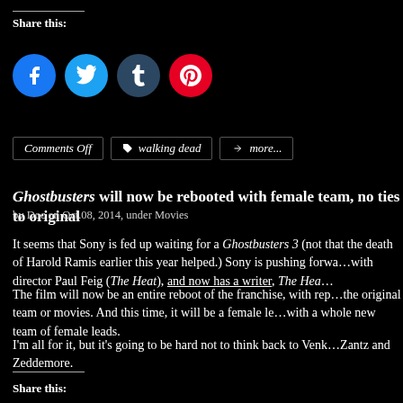Share this:
[Figure (other): Social share buttons: Facebook (blue circle), Twitter (light blue circle), Tumblr (dark blue circle), Pinterest (red circle)]
Comments Off | walking dead | more...
Ghostbusters will now be rebooted with female team, no ties to original
by Doc on Oct.08, 2014, under Movies
It seems that Sony is fed up waiting for a Ghostbusters 3 (not that the death of Harold Ramis earlier this year helped.) Sony is pushing forward with director Paul Feig (The Heat), and now has a writer, The Hea...
The film will now be an entire reboot of the franchise, with no ties to the original team or movies. And this time, it will be a female lead with a whole new team of female leads.
I'm all for it, but it's going to be hard not to think back to Venkman, Zantz and Zeddemore.
Share this: